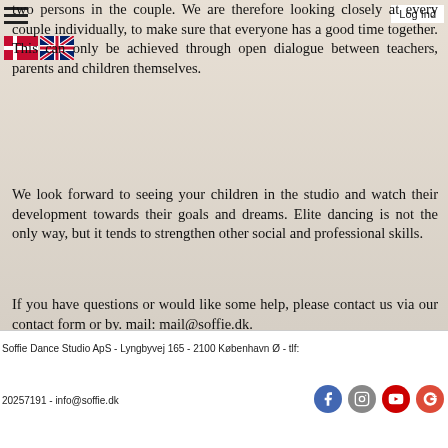two persons in the couple. We are therefore looking closely at every couple individually, to make sure that everyone has a good time together. This can only be achieved through open dialogue between teachers, parents and children themselves.
We look forward to seeing your children in the studio and watch their development towards their goals and dreams. Elite dancing is not the only way, but it tends to strengthen other social and professional skills.
If you have questions or would like some help, please contact us via our contact form or by. mail: mail@soffie.dk.
Soffie Dance Studio ApS - Lyngbyvej 165 - 2100 København Ø - tlf:
20257191 - info@soffie.dk